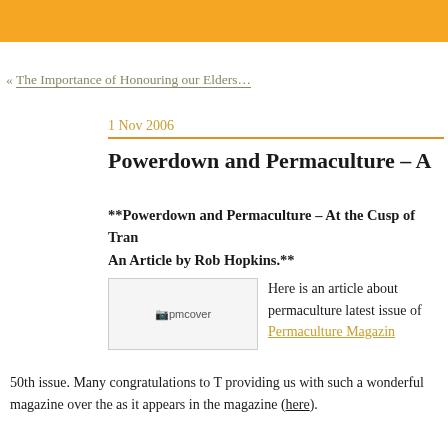« The Importance of Honouring our Elders…
1 Nov 2006
Powerdown and Permaculture – A
**Powerdown and Permaculture – At the Cusp of Tran… An Article by Rob Hopkins.**
[Figure (photo): pmcover image placeholder showing a broken image icon with text 'pmcover']
Here is an article about permaculture latest issue of Permaculture Magazine 50th issue. Many congratulations to T providing us with such a wonderful magazine over the as it appears in the magazine (here).